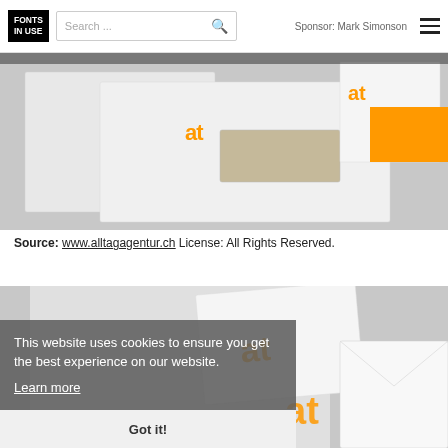FONTS IN USE | Search ... | Sponsor: Mark Simonson
[Figure (photo): Branding stationery mockup showing white envelopes and cards with orange 'at' monogram logo on grey background]
Source: www.alltagagentur.ch License: All Rights Reserved.
[Figure (photo): Close-up branding mockup showing white paper and envelope with orange 'at' monogram logos on grey background, with cookie consent banner overlay]